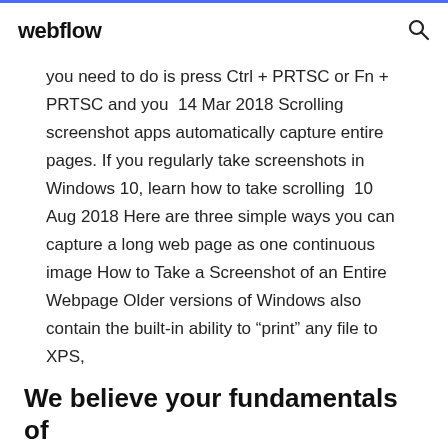webflow
you need to do is press Ctrl + PRTSC or Fn + PRTSC and you  14 Mar 2018 Scrolling screenshot apps automatically capture entire pages. If you regularly take screenshots in Windows 10, learn how to take scrolling  10 Aug 2018 Here are three simple ways you can capture a long web page as one continuous image How to Take a Screenshot of an Entire Webpage Older versions of Windows also contain the built-in ability to “print” any file to XPS,
We believe your fundamentals of